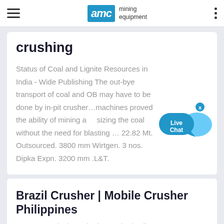AMC mining equipment
crushing
Status of Coal and Lignite Resources in India - Wide Publishing The out-bye transport of coal and OB may have to be done by in-pit crusher…machines proved the ability of mining and sizing the coal without the need for blasting … 22.82 Mt. Outsourced. 3800 mm Wirtgen. 3 nos. Dipka Expn. 3200 mm .L&T.
Brazil Crusher | Mobile Crusher Philippines
2017-5-11 · Lignite reelection production line